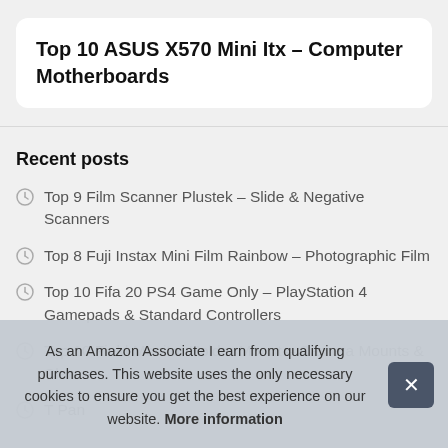Top 10 ASUS X570 Mini Itx – Computer Motherboards
Recent posts
Top 9 Film Scanner Plustek – Slide & Negative Scanners
Top 8 Fuji Instax Mini Film Rainbow – Photographic Film
Top 10 Fifa 20 PS4 Game Only – PlayStation 4 Gamepads & Standard Controllers
Top 10 Field Monitor Holder Mount – Camera Mounts & Clamps
T… Pan…
T…
As an Amazon Associate I earn from qualifying purchases. This website uses the only necessary cookies to ensure you get the best experience on our website. More information